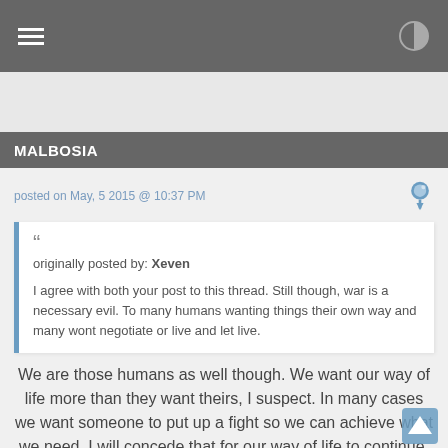MALBOSIA
posted on May, 5 2015 @ 10:37 PM
originally posted by: Xeven

I agree with both your post to this thread. Still though, war is a necessary evil. To many humans wanting things their own way and many wont negotiate or live and let live.
We are those humans as well though. We want our way of life more than they want theirs, I suspect. In many cases we want someone to put up a fight so we can achieve what we need. I will concede that for our way of life to continue, wars